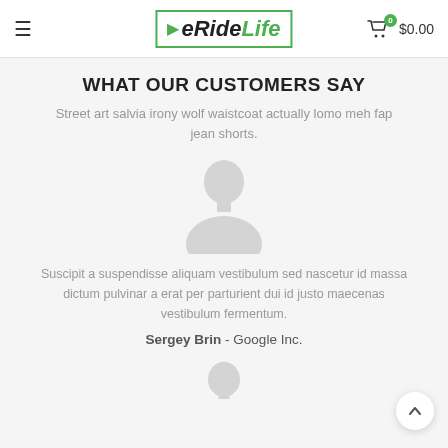eRideLife — $0.00
WHAT OUR CUSTOMERS SAY
Street art salvia irony wolf waistcoat actually lomo meh fap jean shorts.
[Figure (illustration): Grey placeholder silhouette avatar of a person, head and shoulders]
Suscipit a suspendisse aliquam vestibulum sed nascetur id massa dictum pulvinar a erat per parturient dui id justo maecenas vestibulum fermentum.
Sergey Brin - Google Inc.
[Figure (illustration): Grey placeholder silhouette avatar of a person, head and shoulders, partially visible at bottom of page]